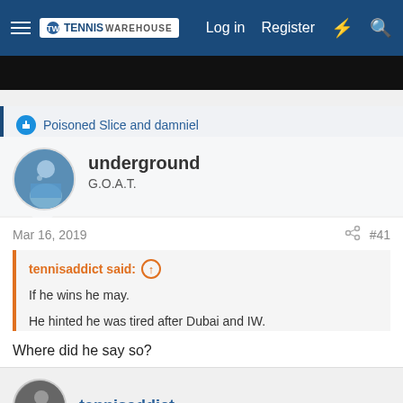Tennis Warehouse — Log in  Register
[Figure (photo): Dark/black image strip, partial screenshot of a video or photo]
Poisoned Slice and damniel
underground
G.O.A.T.
Mar 16, 2019   #41
tennisaddict said:
If he wins he may.
He hinted he was tired after Dubai and IW.
Where did he say so?
tennisaddict